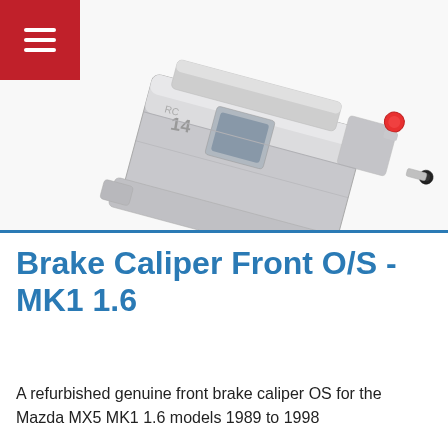[Figure (photo): A refurbished silver/chrome brake caliper (front O/S, MK1 1.6) on a white background. The caliper has visible engraved markings, a red-capped brake fluid port, and a black dust cap on a bleed nipple. A red square hamburger menu icon is visible in the top-left corner.]
Brake Caliper Front O/S - MK1 1.6
A refurbished genuine front brake caliper OS for the Mazda MX5 MK1 1.6 models 1989 to 1998